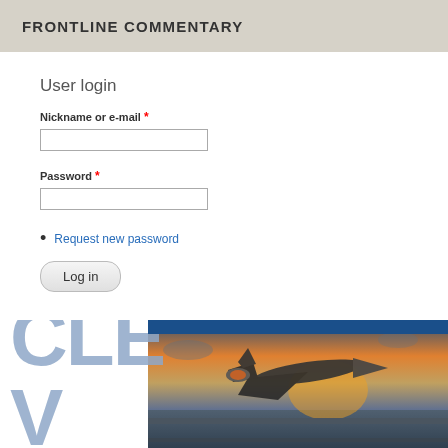FRONTLINE COMMENTARY
User login
Nickname or e-mail *
Password *
Request new password
Log in
[Figure (photo): Fighter jet on aircraft carrier at sunset with blue header bar and partial text 'CLEE' overlay]